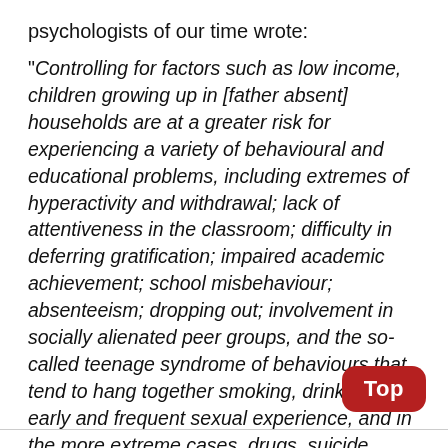psychologists of our time wrote:
"Controlling for factors such as low income, children growing up in [father absent] households are at a greater risk for experiencing a variety of behavioural and educational problems, including extremes of hyperactivity and withdrawal; lack of attentiveness in the classroom; difficulty in deferring gratification; impaired academic achievement; school misbehaviour; absenteeism; dropping out; involvement in socially alienated peer groups, and the so-called teenage syndrome of behaviours that tend to hang together smoking, drinking, early and frequent sexual experience, and in the more extreme cases, drugs, suicide, vandalism, vi- and criminal acts."